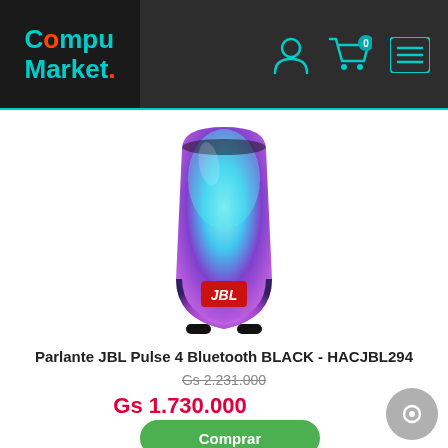[Figure (logo): CompuMarket logo - white and cyan text on dark background]
[Figure (photo): JBL Pulse 4 Bluetooth speaker in black with colorful LED light display showing blue, purple, and pink gradient lighting]
Parlante JBL Pulse 4 Bluetooth BLACK - HACJBL294
Gs 2.231.000
Gs 1.730.000
Comprar